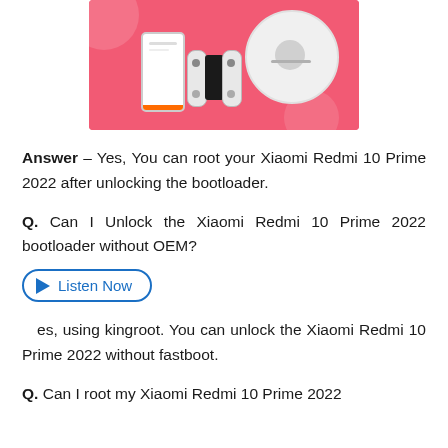[Figure (illustration): Pink banner image showing a robot vacuum cleaner (white disc), a white gaming phone/device with orange stripe, and a Nintendo Switch-style controller on a pink/coral background with decorative circular shapes.]
Answer – Yes, You can root your Xiaomi Redmi 10 Prime 2022 after unlocking the bootloader.
Q. Can I Unlock the Xiaomi Redmi 10 Prime 2022 bootloader without OEM?
Listen Now
Yes, using kingroot. You can unlock the Xiaomi Redmi 10 Prime 2022 without fastboot.
Q. Can I root my Xiaomi Redmi 10 Prime 2022